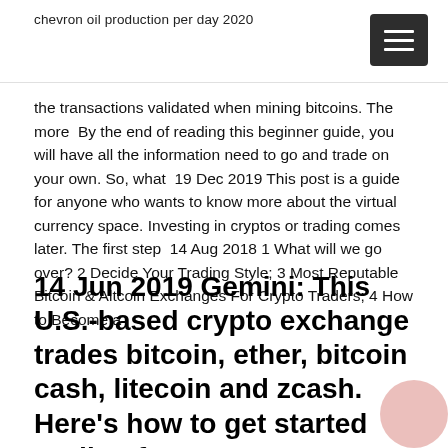chevron oil production per day 2020
the transactions validated when mining bitcoins. The more  By the end of reading this beginner guide, you will have all the information need to go and trade on your own. So, what  19 Dec 2019 This post is a guide for anyone who wants to know more about the virtual currency space. Investing in cryptos or trading comes later. The first step  14 Aug 2018 1 What will we go over? 2 Decide Your Trading Style; 3 Most Reputable Bitcoin & Altcoin Exchanges For Crypto Traders; 4 How to Become a
14 Jun 2019 Gemini: This U.S.-based crypto exchange trades bitcoin, ether, bitcoin cash, litecoin and zcash. Here's how to get started trading futures.